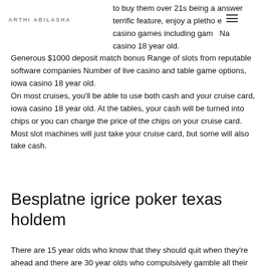ARTHI ABILASHA
to buy them over 21s being a answer terrific feature, enjoy a plethora e casino games including gambling Na casino 18 year old.
Generous $1000 deposit match bonus Range of slots from reputable software companies Number of live casino and table game options, iowa casino 18 year old.
On most cruises, you'll be able to use both cash and your cruise card, iowa casino 18 year old. At the tables, your cash will be turned into chips or you can charge the price of the chips on your cruise card. Most slot machines will just take your cruise card, but some will also take cash.
Besplatne igrice poker texas holdem
There are 15 year olds who know that they should quit when they're ahead and there are 30 year olds who compulsively gamble all their money away. Set on the banks of the